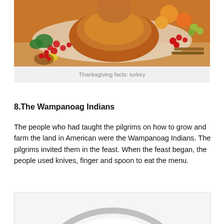[Figure (photo): A roasted turkey on a platter surrounded by fruits, berries, and vegetables for Thanksgiving]
Thanksgiving facts: turkey
8.The Wampanoag Indians
The people who had taught the pilgrims on how to grow and farm the land in American were the Wampanoag Indians. The pilgrims invited them in the feast. When the feast began, the people used knives, finger and spoon to eat the menu.
[Figure (photo): Partial circular image at bottom of page, appears to be a pie or round dish]